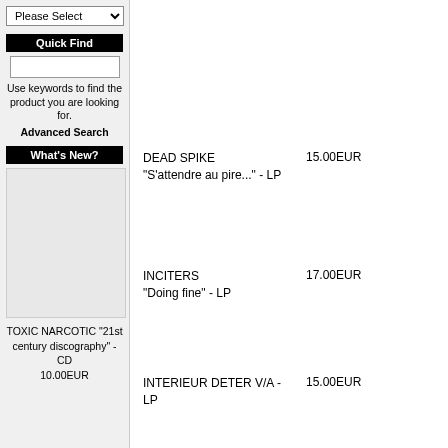Please Select (dropdown)
Quick Find
Use keywords to find the product you are looking for.
Advanced Search
What's New?
TOXIC NARCOTIC "21st century discography" - CD
10.00EUR
DEAD SPIKE
"S'attendre au pire..." - LP	15.00EUR
INCITERS
"Doing fine" - LP	17.00EUR
INTERIEUR DETER V/A - LP	15.00EUR